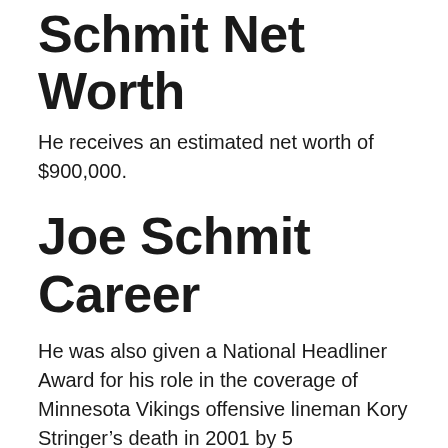Schmit Net Worth
He receives an estimated net worth of $900,000.
Joe Schmit Career
He was also given a National Headliner Award for his role in the coverage of Minnesota Vikings offensive lineman Kory Stringer’s death in 2001 by 5 EYEWITNESS NEWS. Joe is also a regular on ESPN 1500. He is a prominent keynote speaker and the author of “Silent Impact: Influence Through Purpose, Persistence, and Passion,” his debut book.
Robertselebr the st... [partial]